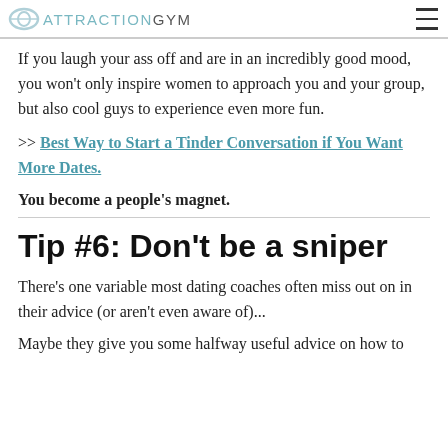ATTRACTIONGYM
If you laugh your ass off and are in an incredibly good mood, you won't only inspire women to approach you and your group, but also cool guys to experience even more fun.
>> Best Way to Start a Tinder Conversation if You Want More Dates.
You become a people's magnet.
Tip #6: Don't be a sniper
There's one variable most dating coaches often miss out on in their advice (or aren't even aware of)...
Maybe they give you some halfway useful advice on how to